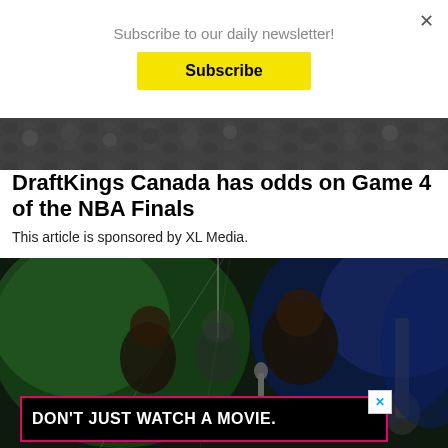Subscribe to our daily newsletter!
Subscribe
[Figure (photo): Top of a crowd/event photo, partially visible at the top of the article]
DraftKings Canada has odds on Game 4 of the NBA Finals
This article is sponsored by XL Media.
[Figure (photo): Concert photo showing musicians on stage with green and blue lighting, one person holding a microphone, another playing guitar]
DON'T JUST WATCH A MOVIE.